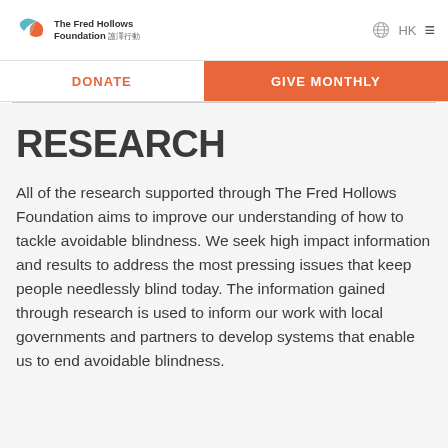The Fred Hollows Foundation | 護澤行動 — HK ≡
DONATE | GIVE MONTHLY
RESEARCH
All of the research supported through The Fred Hollows Foundation aims to improve our understanding of how to tackle avoidable blindness. We seek high impact information and results to address the most pressing issues that keep people needlessly blind today. The information gained through research is used to inform our work with local governments and partners to develop systems that enable us to end avoidable blindness.